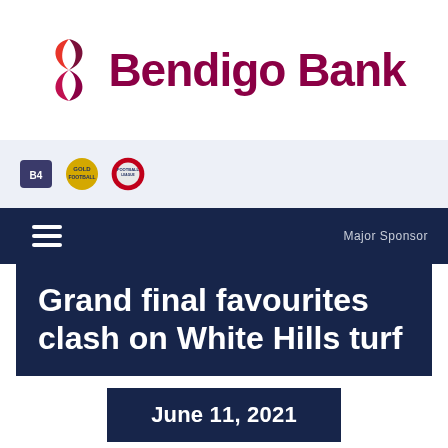[Figure (logo): Bendigo Bank logo with stylized B icon and text 'Bendigo Bank' in maroon/purple]
[Figure (logo): Navigation bar with three small sports league logos on light blue background]
[Figure (other): Dark navy menu bar with hamburger icon on left and 'Major Sponsor' text on right]
Grand final favourites clash on White Hills turf
June 11, 2021